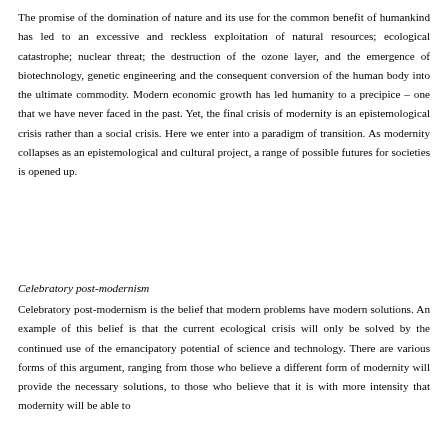The promise of the domination of nature and its use for the common benefit of humankind has led to an excessive and reckless exploitation of natural resources; ecological catastrophe; nuclear threat; the destruction of the ozone layer, and the emergence of biotechnology, genetic engineering and the consequent conversion of the human body into the ultimate commodity. Modern economic growth has led humanity to a precipice – one that we have never faced in the past. Yet, the final crisis of modernity is an epistemological crisis rather than a social crisis. Here we enter into a paradigm of transition. As modernity collapses as an epistemological and cultural project, a range of possible futures for societies is opened up.
Celebratory post-modernism
Celebratory post-modernism is the belief that modern problems have modern solutions. An example of this belief is that the current ecological crisis will only be solved by the continued use of the emancipatory potential of science and technology. There are various forms of this argument, ranging from those who believe a different form of modernity will provide the necessary solutions, to those who believe that it is with more intensity that modernity will be able to